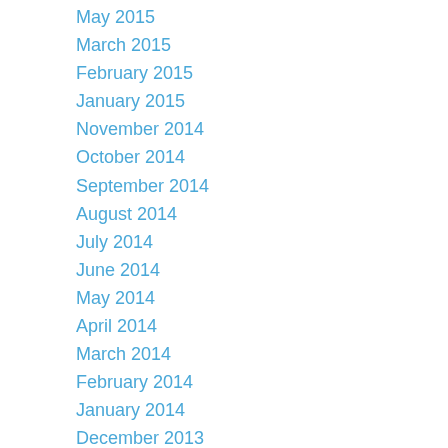May 2015
March 2015
February 2015
January 2015
November 2014
October 2014
September 2014
August 2014
July 2014
June 2014
May 2014
April 2014
March 2014
February 2014
January 2014
December 2013
November 2013
October 2013
September 2013
August 2013